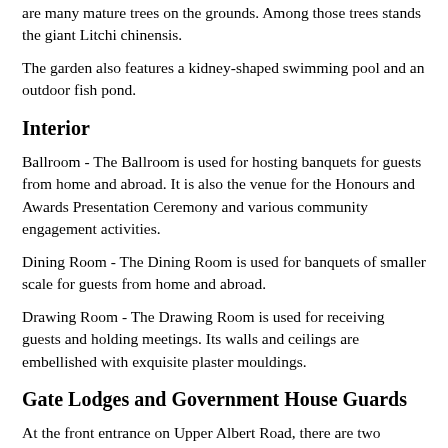are many mature trees on the grounds. Among those trees stands the giant Litchi chinensis.
The garden also features a kidney-shaped swimming pool and an outdoor fish pond.
Interior
Ballroom - The Ballroom is used for hosting banquets for guests from home and abroad. It is also the venue for the Honours and Awards Presentation Ceremony and various community engagement activities.
Dining Room - The Dining Room is used for banquets of smaller scale for guests from home and abroad.
Drawing Room - The Drawing Room is used for receiving guests and holding meetings. Its walls and ceilings are embellished with exquisite plaster mouldings.
Gate Lodges and Government House Guards
At the front entrance on Upper Albert Road, there are two buildings with an iron gate known as the Gate Lodges. Built in 1855, they are the oldest structures of Government House. They